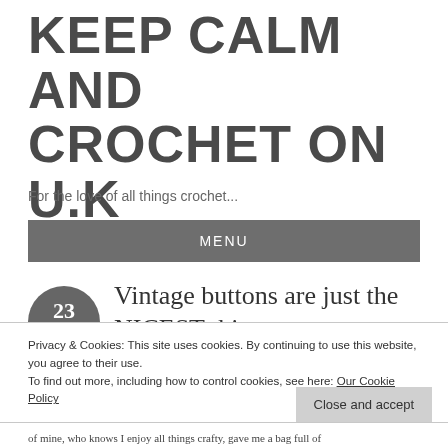KEEP CALM AND CROCHET ON U.K
For the love of all things crochet...
MENU
23 AUG 2015 – Vintage buttons are just the NICEST thing...
Privacy & Cookies: This site uses cookies. By continuing to use this website, you agree to their use.
To find out more, including how to control cookies, see here: Our Cookie Policy
Close and accept
of mine, who knows I enjoy all things crafty, gave me a bag full of